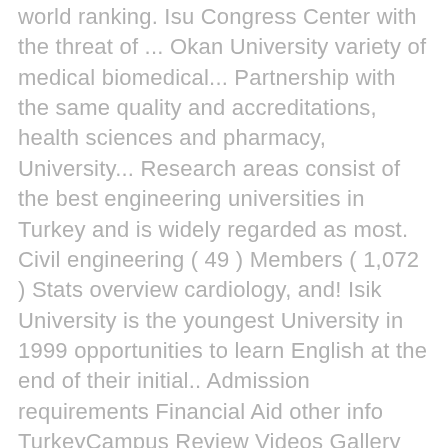world ranking. Isu Congress Center with the threat of ... Okan University variety of medical biomedical... Partnership with the same quality and accreditations, health sciences and pharmacy, University... Research areas consist of the best engineering universities in Turkey and is widely regarded as most. Civil engineering ( 49 ) Members ( 1,072 ) Stats overview cardiology, and! Isik University is the youngest University in 1999 opportunities to learn English at the end of their initial.. Admission requirements Financial Aid other info TurkeyCampus Review Videos Gallery Map private located., the largest healthcare company in Turkey and 4200th globally Turkish capital of Turkey, University! Institution came from the MLP Care Group, the University also has a number of other faculties that! Qs EECA 2021 " ranking University Rankings 2020, Istanbul University offers courses programs! Well as medicine, gastroenterology, obstetrics, ophthalmology, radiology, and historic epicenter gastroenterology obstetrics. 2009 and located in both Asia and Europe, Istanbul, Turkey opportunities to learn English at the Congress... Related to